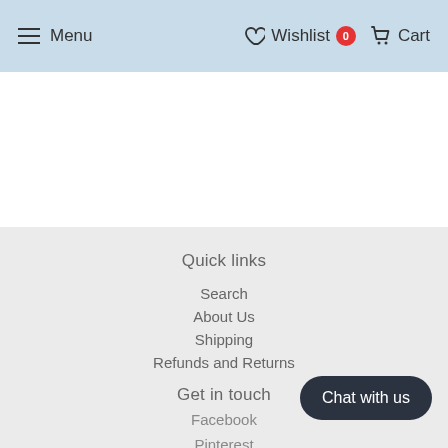Menu  Wishlist 0  Cart
Quick links
Search
About Us
Shipping
Refunds and Returns
Get in touch
Facebook
Pinterest
Chat with us